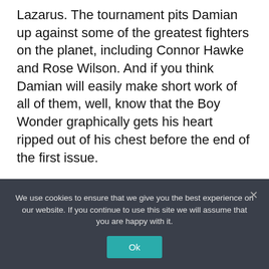Lazarus. The tournament pits Damian up against some of the greatest fighters on the planet, including Connor Hawke and Rose Wilson. And if you think Damian will easily make short work of all of them, well, know that the Boy Wonder graphically gets his heart ripped out of his chest before the end of the first issue.
Teen Titans GO! this is not.
This also isn't Damian's first extended solo outing. The Boy Wonder previously starred in
We use cookies to ensure that we give you the best experience on our website. If you continue to use this site we will assume that you are happy with it.